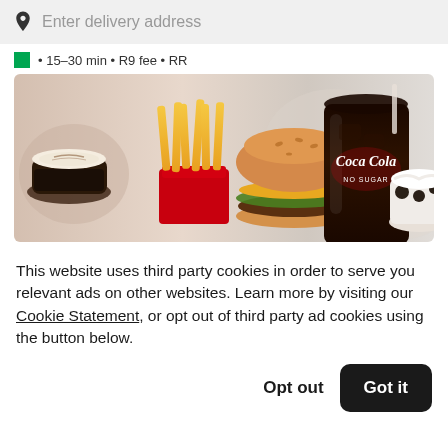Enter delivery address
• 15–30 min • R9 fee • RR
[Figure (photo): McDonald's food items including a cappuccino, french fries in a red container, a burger, a large Coca-Cola No Sugar drink, and what appears to be a McFlurry dessert, on a light blurred background.]
This website uses third party cookies in order to serve you relevant ads on other websites. Learn more by visiting our Cookie Statement, or opt out of third party ad cookies using the button below.
Opt out
Got it